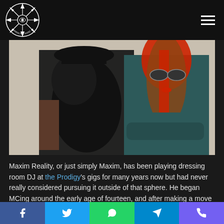[Figure (logo): Radioactive Radio logo — stylized star/crosshair emblem in black and white]
[Figure (photo): Two people posing — person on left wearing black fur vest and hat, person on right with red hair and sunglasses wearing teal top, arms crossed]
Maxim Reality, or just simply Maxim, has been playing dressing room DJ at the Prodigy's gigs for many years now but had never really considered pursuing it outside of that sphere. He began MCing around the early age of fourteen, and after making a move to London, a friend's introduction landed
Facebook  Twitter  WhatsApp  Telegram  Viber